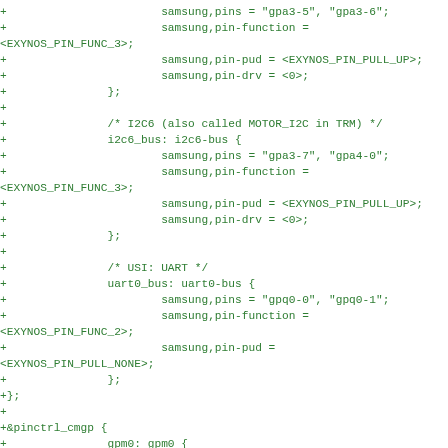Code diff showing device tree pin configuration for Samsung Exynos including I2C6 bus, USI UART, and pinctrl_cmgp sections